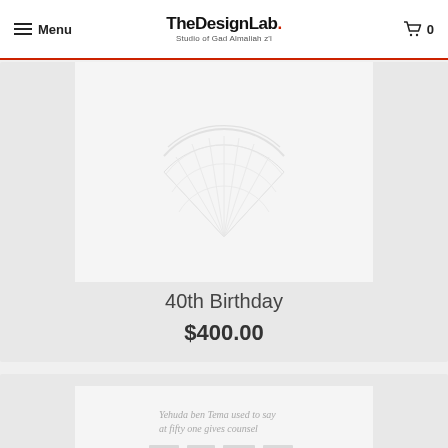TheDesignLab. Studio of Gad Almaliah z'l — Menu | Cart 0
[Figure (illustration): 40th Birthday product — decorative fan/wheel artwork in light gray on white background]
40th Birthday
$400.00
[Figure (illustration): Second product card — calligraphic text and Hebrew lettering artwork, partially visible]